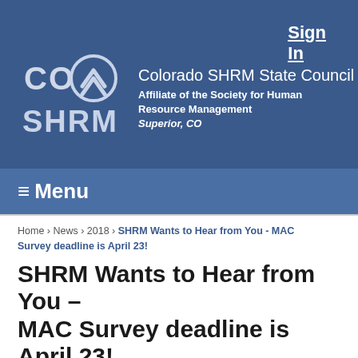Sign In
[Figure (logo): Colorado SHRM State Council logo with CO SHRM text and upward arrow emblem]
Colorado SHRM State Council
Affiliate of the Society for Human Resource Management
Superior, CO
≡Menu
Home › News › 2018 › SHRM Wants to Hear from You - MAC Survey deadline is April 23!
SHRM Wants to Hear from You – MAC Survey deadline is April 23!
April 18, 2018